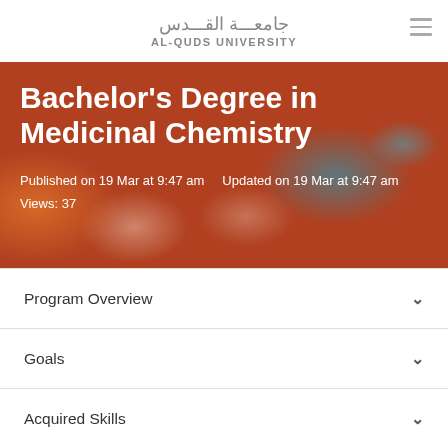جامعـــة القـــدس AL-QUDS UNIVERSITY
Bachelor's Degree in Medicinal Chemistry
Published on 19 Mar at 9:47 am    Updated on 19 Mar at 9:47 am
Views: 37
Program Overview
Goals
Acquired Skills